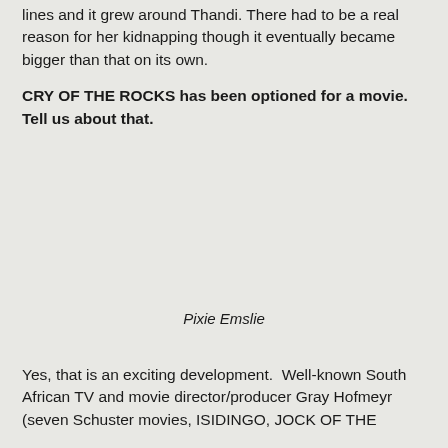lines and it grew around Thandi. There had to be a real reason for her kidnapping though it eventually became bigger than that on its own.
CRY OF THE ROCKS has been optioned for a movie. Tell us about that.
Pixie Emslie
Yes, that is an exciting development.  Well-known South African TV and movie director/producer Gray Hofmeyr (seven Schuster movies, ISIDINGO, JOCK OF THE